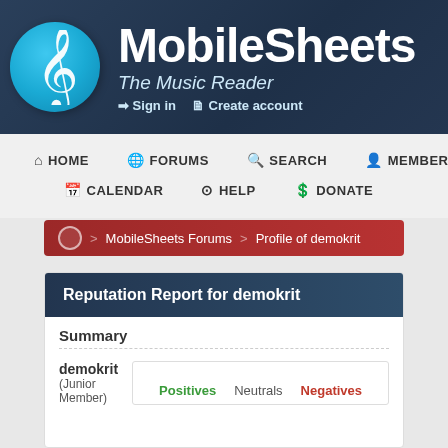[Figure (logo): MobileSheets logo with treble clef in blue circle and site name, subtitle 'The Music Reader', and sign in / create account links]
HOME  FORUMS  SEARCH  MEMBERS  CALENDAR  HELP  DONATE
> MobileSheets Forums > Profile of demokrit
Reputation Report for demokrit
Summary
demokrit
(Junior Member)
Positives  Neutrals  Negatives